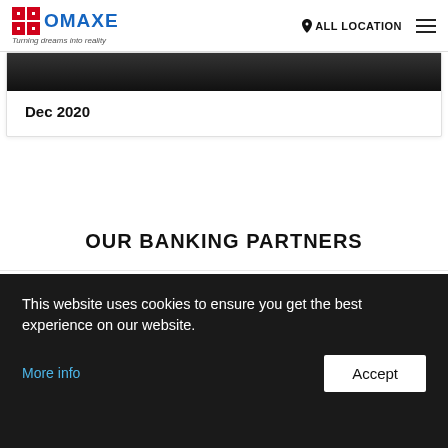OMAXE — Turning dreams into reality | ALL LOCATION
[Figure (photo): Partial image strip showing a dark/black cropped photo at the top of a card]
Dec 2020
OUR BANKING PARTNERS
[Figure (logo): Banking partner logos: DHFL (Changing Rules Changing Lives), ICICI Bank, State Bank of India (The Banker to Every Indian)]
This website uses cookies to ensure you get the best experience on our website.
More info
Accept